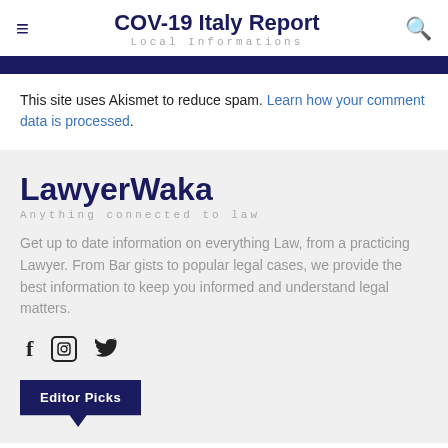COV-19 Italy Report
Local Informations
This site uses Akismet to reduce spam. Learn how your comment data is processed.
LawyerWaka
Anything connected to law
Get up to date information on everything Law, from a practicing Lawyer. From Bar gists to popular legal cases, we provide the best information to keep you informed and understand legal matters.
[Figure (other): Social media icons: Facebook (f), Instagram (circle square icon), Twitter (bird icon)]
Editor Picks